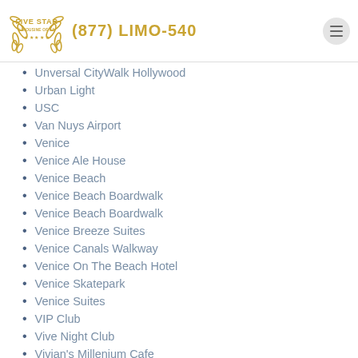FIVE STAR LIMOUSINE OF LA — (877) LIMO-540
Unversal CityWalk Hollywood
Urban Light
USC
Van Nuys Airport
Venice
Venice Ale House
Venice Beach
Venice Beach Boardwalk
Venice Beach Boardwalk
Venice Breeze Suites
Venice Canals Walkway
Venice On The Beach Hotel
Venice Skatepark
Venice Suites
VIP Club
Vive Night Club
Vivian's Millenium Cafe